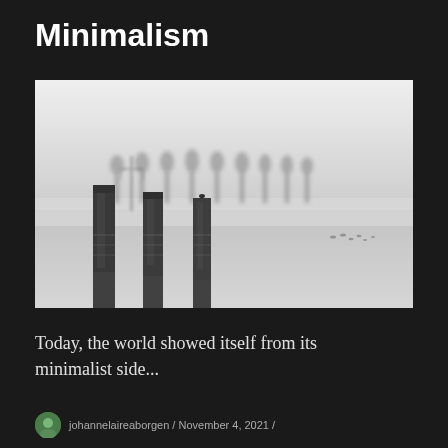Minimalism
[Figure (photo): Black and white minimalist landscape photograph showing wooden posts/pilings reflected in a still, misty lake or water body, with a row of bare trees faintly visible in the foggy background. Birds can be seen in the distance on the right side.]
Today, the world showed itself from its minimalist side...
johannelaireaborgen / November 4, 2021 /